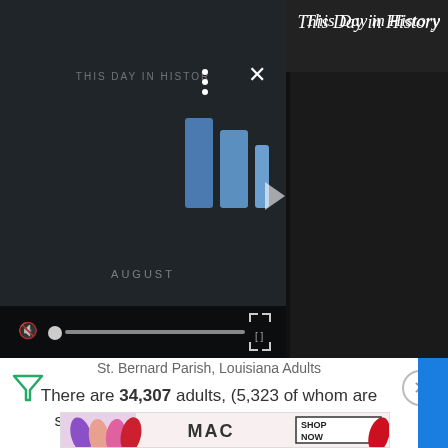[Figure (screenshot): Video player showing 'This Day in History' with play button, progress bar, mute button, and controls. Dark background with blue play icon graphic. 'AUGUST' label visible.]
This Day in History
St. Bernard Parish, Louisiana Adults
There are 34,307 adults, (5,323 of whom are seniors) in St. Bernard Parish, Louisiana.
St. Bernard Parish, Louisiana Age Dependency
Age Dependency Ratio
18.4
[Figure (screenshot): MAC cosmetics advertisement banner with lipsticks and SHOP NOW button]